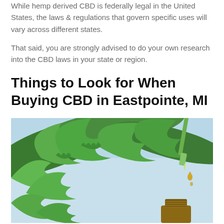While hemp derived CBD is federally legal in the United States, the laws & regulations that govern specific uses will vary across different states.
That said, you are strongly advised to do your own research into the CBD laws in your state or region.
Things to Look for When Buying CBD in Eastpointe, MI
[Figure (photo): Close-up photo of cannabis/hemp leaves with a glass dropper bottle with golden CBD oil droplet falling into it, against a light blue background.]